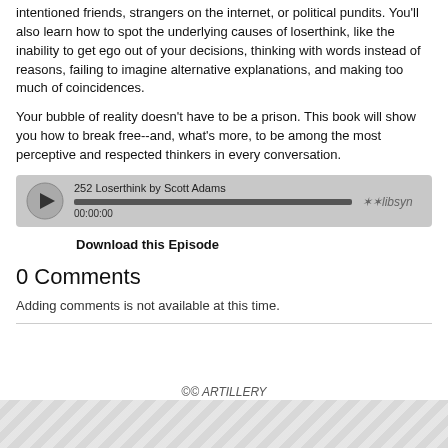intentioned friends, strangers on the internet, or political pundits. You'll also learn how to spot the underlying causes of loserthink, like the inability to get ego out of your decisions, thinking with words instead of reasons, failing to imagine alternative explanations, and making too much of coincidences.
Your bubble of reality doesn't have to be a prison. This book will show you how to break free--and, what's more, to be among the most perceptive and respected thinkers in every conversation.
[Figure (other): Audio player widget showing episode '252 Loserthink by Scott Adams' with a progress bar at 00:00:00 and Libsyn branding]
Download this Episode
0 Comments
Adding comments is not available at this time.
©© ARTILLERY